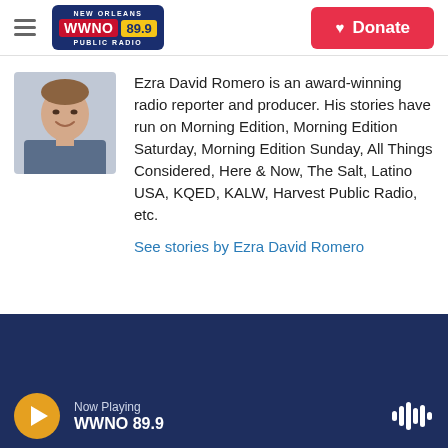WWNO 89.9 New Orleans Public Radio — Donate
[Figure (photo): Headshot photo of Ezra David Romero, a man in a suit smiling]
Ezra David Romero is an award-winning radio reporter and producer. His stories have run on Morning Edition, Morning Edition Saturday, Morning Edition Sunday, All Things Considered, Here & Now, The Salt, Latino USA, KQED, KALW, Harvest Public Radio, etc.
See stories by Ezra David Romero
Now Playing WWNO 89.9